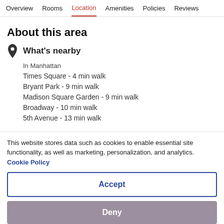Overview  Rooms  Location  Amenities  Policies  Reviews
About this area
What's nearby
In Manhattan
Times Square - 4 min walk
Bryant Park - 9 min walk
Madison Square Garden - 9 min walk
Broadway - 10 min walk
5th Avenue - 13 min walk
This website stores data such as cookies to enable essential site functionality, as well as marketing, personalization, and analytics. Cookie Policy
Accept
Deny